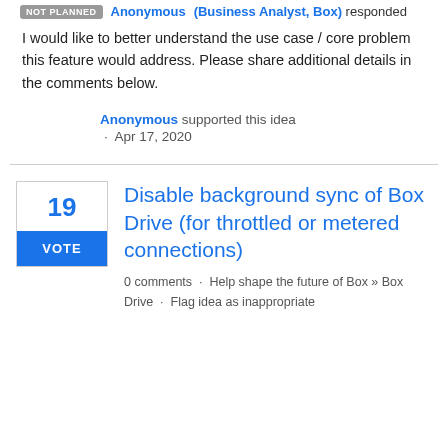NOT PLANNED  Anonymous (Business Analyst, Box) responded
I would like to better understand the use case / core problem this feature would address. Please share additional details in the comments below.
Anonymous supported this idea · Apr 17, 2020
19 VOTE
Disable background sync of Box Drive (for throttled or metered connections)
0 comments · Help shape the future of Box » Box Drive · Flag idea as inappropriate